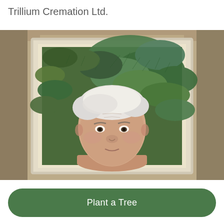Trillium Cremation Ltd.
[Figure (photo): Portrait photo of an elderly woman with short white hair against a background of blue-green pine/spruce tree branches, displayed in a cream-colored frame on a decorative stand background]
Plant a Tree